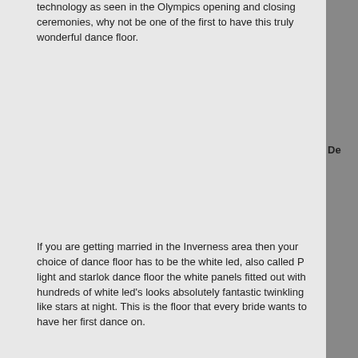technology as seen in the Olympics opening and closing ceremonies, why not be one of the first to have this truly wonderful dance floor.
If you are getting married in the Inverness area then your choice of dance floor has to be the white led, also called P light and starlok dance floor the white panels fitted out with hundreds of white led's looks absolutely fantastic twinkling like stars at night. This is the floor that every bride wants to have her first dance on.